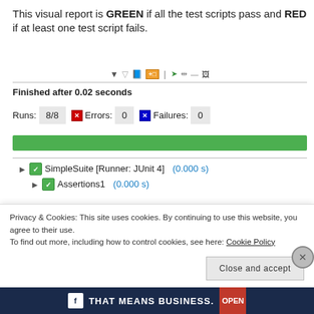This visual report is GREEN if all the test scripts pass and RED if at least one test script fails.
[Figure (screenshot): Eclipse JUnit toolbar icons row]
Finished after 0.02 seconds
Runs: 8/8  Errors: 0  Failures: 0
[Figure (infographic): Green progress bar showing all tests passed]
[Figure (screenshot): Eclipse JUnit test tree showing SimpleSuite [Runner: JUnit 4] (0.000 s) > Assertions1 (0.000 s) > assertArrayEquals (0.000 s), assertEquals (0.000 s)]
Privacy & Cookies: This site uses cookies. By continuing to use this website, you agree to their use.
To find out more, including how to control cookies, see here: Cookie Policy
Close and accept
[Figure (infographic): Ad banner: THAT MEANS BUSINESS.]